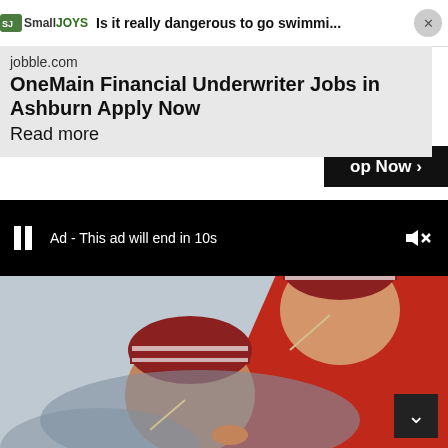[Figure (screenshot): SmallJoys top ad bar with logo and text: 'Is it really dangerous to go swimmi...' with close button]
jobble.com
OneMain Financial Underwriter Jobs in Ashburn Apply Now
Read more
s Sale
op Now >
Ad - This ad will end in 10s
[Figure (photo): Two newborn babies sleeping side by side, wearing red and white striped knit hats, with a red blanket, and medical tubes visible]
[Figure (screenshot): Scroll down chevron button in dark square at bottom right]